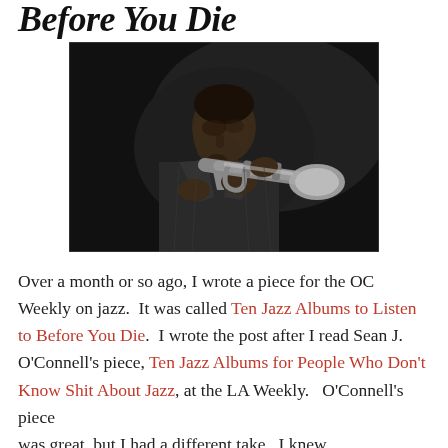Before You Die
[Figure (photo): Black and white photograph of a jazz musician (Miles Davis) playing trumpet, leaning forward, wearing a suit, dark background.]
Over a month or so ago, I wrote a piece for the OC Weekly on jazz.  It was called Ten Jazz Albums to Listen to Before You Die.  I wrote the post after I read Sean J. O'Connell's piece, Ten Jazz Albums for People Who Don't Know Shit About Jazz, at the LA Weekly.   O'Connell's piece was great, but I had a different take.  I knew